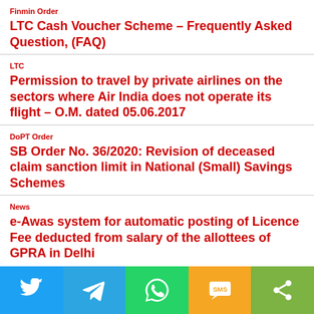Finmin Order
LTC Cash Voucher Scheme – Frequently Asked Question, (FAQ)
LTC
Permission to travel by private airlines on the sectors where Air India does not operate its flight – O.M. dated 05.06.2017
DoPT Order
SB Order No. 36/2020: Revision of deceased claim sanction limit in National (Small) Savings Schemes
News
e-Awas system for automatic posting of Licence Fee deducted from salary of the allottees of GPRA in Delhi
[Figure (infographic): Social sharing bar with icons for Twitter, Telegram, WhatsApp, SMS, and Share]